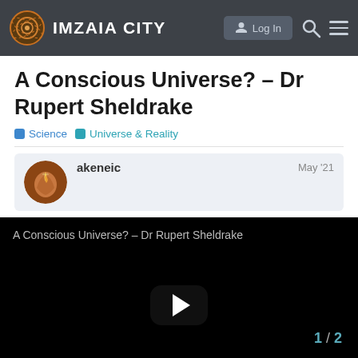IMZAIA CITY
A Conscious Universe? – Dr Rupert Sheldrake
Science  Universe & Reality
akeneic  May '21
[Figure (screenshot): Video player showing 'A Conscious Universe? – Dr Rupert Sheldrake' with a black background and a play button in the center]
1 / 2